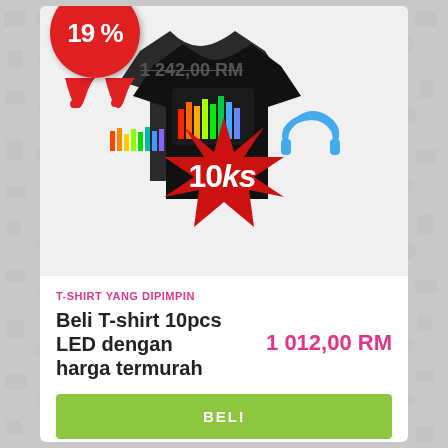[Figure (photo): Product card showing a black LED T-shirt with equalizer/music pattern display. A red circular badge shows '19 %' discount. A red starburst overlay shows '10ks'. A strikethrough original price reads '1 242,00 RM'.]
T-SHIRT YANG DIPIMPIN
Beli T-shirt 10pcs LED dengan harga termurah
1 012,00 RM
BELI